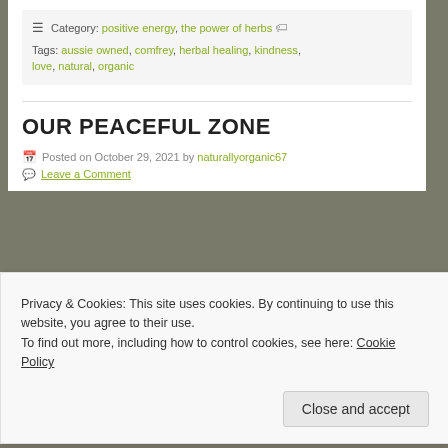Category: positive energy, the power of herbs
Tags: aussie owned, comfrey, herbal healing, kindness, love, natural, organic
OUR PEACEFUL ZONE
Posted on October 29, 2021 by naturallyorganic67
Leave a Comment
[Figure (photo): Partial blue-grey image strip at top of blog post photo]
Privacy & Cookies: This site uses cookies. By continuing to use this website, you agree to their use.
To find out more, including how to control cookies, see here: Cookie Policy
Close and accept